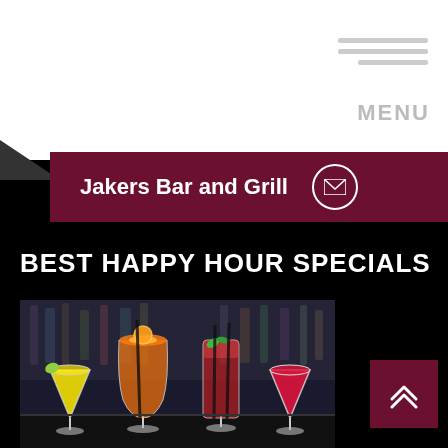MENU
Jakers Bar and Grill
BEST HAPPY HOUR SPECIALS
[Figure (photo): Four colorful cocktails lined up on a bar: yellow margarita, orange Aperol spritz, red mojito, and red cranberry drink, with a blurred bar backdrop.]
[Figure (other): Dark red scroll-to-top button with up chevron arrows]